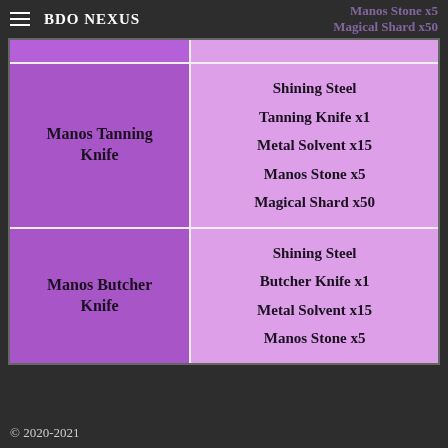BDO NEXUS
| Item | Materials |
| --- | --- |
| Manos Tanning Knife | Shining Steel Tanning Knife x1
Metal Solvent x15
Manos Stone x5
Magical Shard x50 |
| Manos Butcher Knife | Shining Steel Butcher Knife x1
Metal Solvent x15
Manos Stone x5 |
© 2020-2021